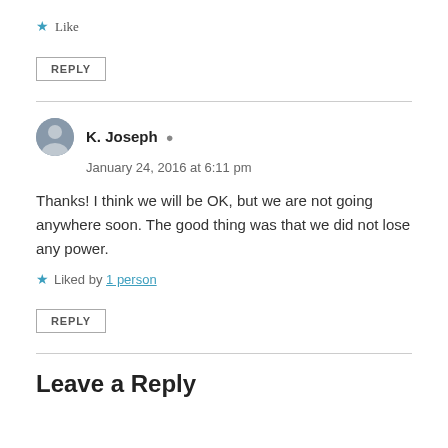★ Like
REPLY
K. Joseph
January 24, 2016 at 6:11 pm
Thanks! I think we will be OK, but we are not going anywhere soon. The good thing was that we did not lose any power.
Liked by 1 person
REPLY
Leave a Reply